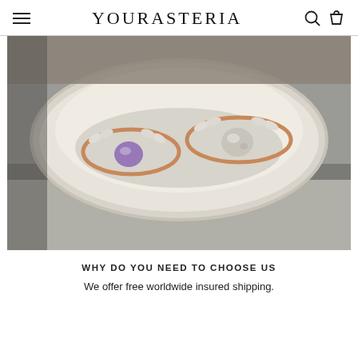YOURASTERIA
[Figure (photo): Two rose gold rings with gemstones displayed in a white ornate ceramic dish. The left ring has a purple/amethyst center stone with diamond side stones, and the right ring has a rough/raw diamond center stone with marquise side stones. The dish sits on what appears to be a stone or plaster surface.]
WHY DO YOU NEED TO CHOOSE US
We offer free worldwide insured shipping.